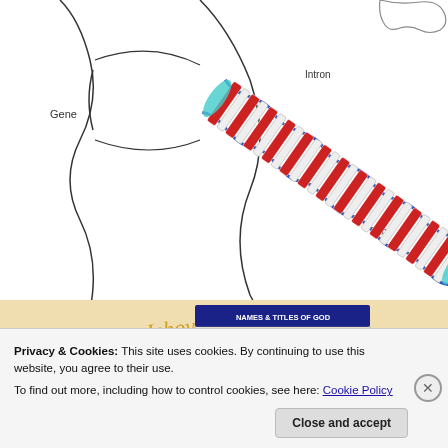[Figure (illustration): Scientific illustration of a DNA double helix alongside a gene/chromosome schematic showing 'Gene', 'Intron', and 'Exon' labels. A DNA double helix with red and white stripes and blue/teal highlights runs diagonally. Outline of a cell/organism structure shown in black lines.]
[Figure (infographic): Names & Titles of God infographic with blue header bar, showing a table of Hebrew/English names, overlaid with colorful calligraphic text including 'Jehovah', 'El Yesh'at', 'CHUWM', 'TZADIK', 'EL', and other names in blue, gold, red and brown on cream background.]
Privacy & Cookies: This site uses cookies. By continuing to use this website, you agree to their use.
To find out more, including how to control cookies, see here: Cookie Policy
Close and accept